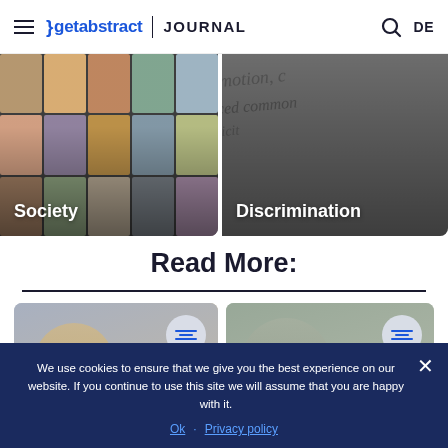getabstract JOURNAL
[Figure (photo): Category card showing diverse group of faces - Society]
[Figure (photo): Category card showing text with words promotion, common, ethnicity - Discrimination]
Read More:
[Figure (photo): Article card with person on left side]
[Figure (photo): Article card with person on right side]
We use cookies to ensure that we give you the best experience on our website. If you continue to use this site we will assume that you are happy with it.
Ok · Privacy policy